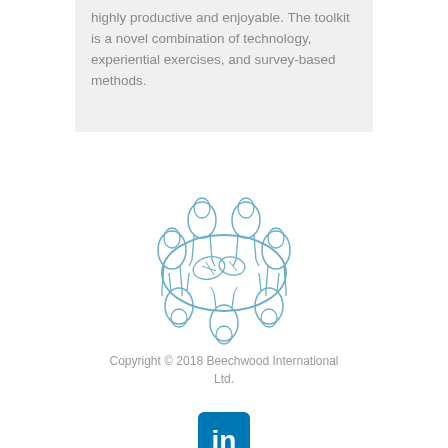highly productive and enjoyable. The toolkit is a novel combination of technology, experiential exercises, and survey-based methods.
[Figure (illustration): Line drawing illustration of people seated around a round table in a meeting setting, drawn in light blue/teal outline style]
Copyright © 2018 Beechwood International Ltd.
[Figure (logo): LinkedIn 'in' logo icon — white 'in' text on a blue square rounded rectangle background]